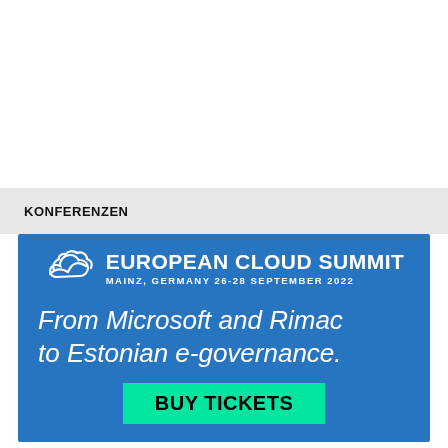KONFERENZEN
[Figure (illustration): European Cloud Summit advertisement banner. Blue background with white cloud logo and text: EUROPEAN CLOUD SUMMIT, MAINZ, GERMANY 26-28 SEPTEMBER 2022. Italic text: From Microsoft and Rimac to Estonian e-governance. Green button: BUY TICKETS]